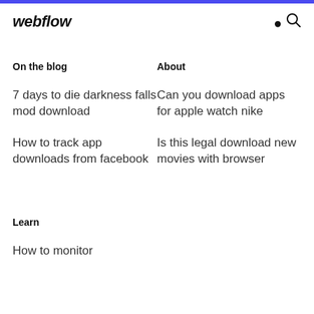webflow
On the blog
About
7 days to die darkness falls mod download
Can you download apps for apple watch nike
How to track app downloads from facebook
Is this legal download new movies with browser
Learn
How to monitor